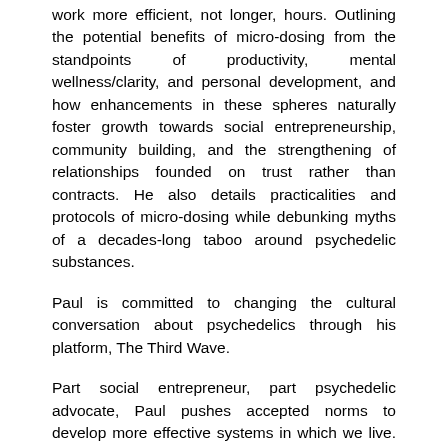work more efficient, not longer, hours. Outlining the potential benefits of micro-dosing from the standpoints of productivity, mental wellness/clarity, and personal development, and how enhancements in these spheres naturally foster growth towards social entrepreneurship, community building, and the strengthening of relationships founded on trust rather than contracts. He also details practicalities and protocols of micro-dosing while debunking myths of a decades-long taboo around psychedelic substances.
Paul is committed to changing the cultural conversation about psychedelics through his platform, The Third Wave.
Part social entrepreneur, part psychedelic advocate, Paul pushes accepted norms to develop more effective systems in which we live. Considered an expert on the burgeoning topic of microdosing, he has hosted seminars for hundreds of people in places like Berlin, Amsterdam, Portland, and New York City.
For three years, Paul built and ran a remote online teaching business while living in Thailand, Portugal, and Mexico. He is currently in the process of establishing a Public Benefit...